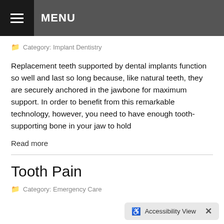MENU
Category: Implant Dentistry
Replacement teeth supported by dental implants function so well and last so long because, like natural teeth, they are securely anchored in the jawbone for maximum support. In order to benefit from this remarkable technology, however, you need to have enough tooth-supporting bone in your jaw to hold
Read more
Tooth Pain
Category: Emergency Care